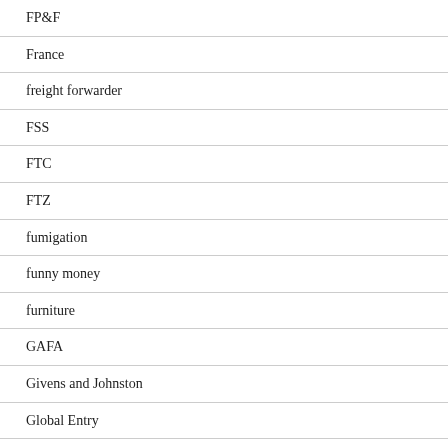FP&F
France
freight forwarder
FSS
FTC
FTZ
fumigation
funny money
furniture
GAFA
Givens and Johnston
Global Entry
Global Magnitsky Act
GM
GSP